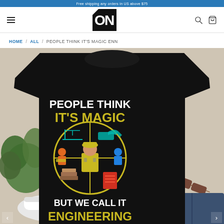Free shipping any orders in US above $75
[Figure (logo): ON logo - black square with white O and N letters]
HOME / ALL / PEOPLE THINK IT'S MAGIC ENN
[Figure (photo): Black t-shirt laid flat showing graphic design text: PEOPLE THINK IT'S MAGIC BUT WE CALL IT ENGINEERING with engineering worker in hard hat surrounded by circular diagram of construction equipment and workers. T-shirt is on a beige surface with green plant, white sneakers, sunglasses, and jeans visible around it.]